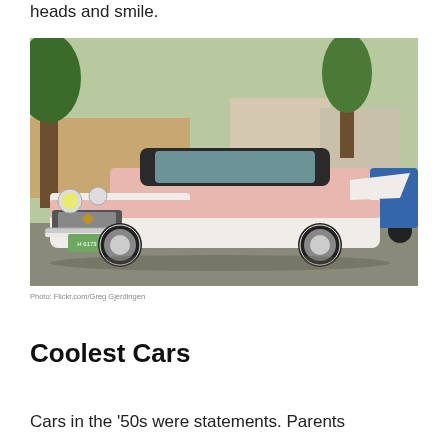heads and smile.
[Figure (photo): A vintage 1950s DeSoto or similar classic American car in white and pink two-tone paint with whitewall tires, parked at what appears to be a car show. Other classic cars visible in the background including a red car and a blue truck. Trees and buildings visible in the background. License plate reads H 6173.]
Photo: Flickr.com/Greg Gjerdingen
Coolest Cars
Cars in the '50s were statements. Parents